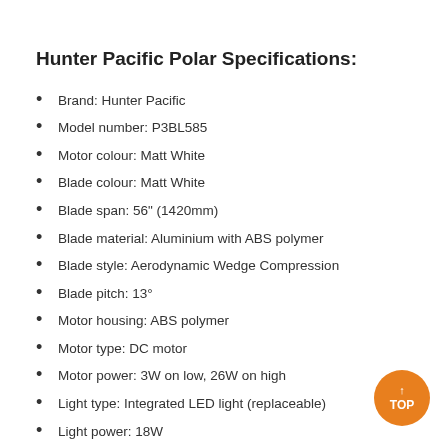Hunter Pacific Polar Specifications:
Brand: Hunter Pacific
Model number: P3BL585
Motor colour: Matt White
Blade colour: Matt White
Blade span: 56" (1420mm)
Blade material: Aluminium with ABS polymer
Blade style: Aerodynamic Wedge Compression
Blade pitch: 13°
Motor housing: ABS polymer
Motor type: DC motor
Motor power: 3W on low, 26W on high
Light type: Integrated LED light (replaceable)
Light power: 18W